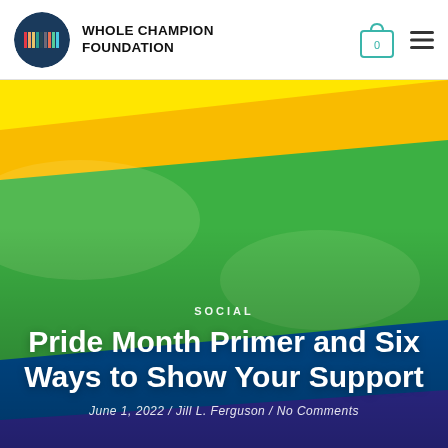[Figure (logo): Whole Champion Foundation circular logo with colorful vertical bars on dark background]
WHOLE CHAMPION FOUNDATION
[Figure (photo): Close-up of a rainbow pride flag with bold diagonal color bands: red, orange, yellow, green, blue]
SOCIAL
Pride Month Primer and Six Ways to Show Your Support
June 1, 2022 / Jill L. Ferguson / No Comments